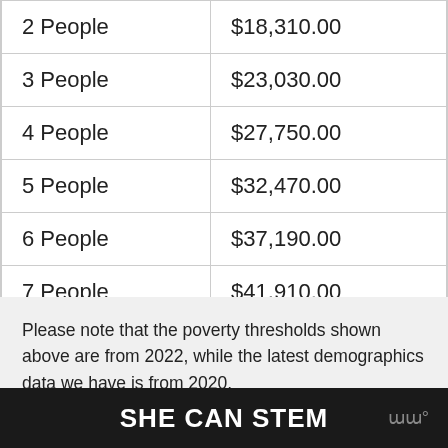| Household Size | Poverty Threshold |
| --- | --- |
| 2 People | $18,310.00 |
| 3 People | $23,030.00 |
| 4 People | $27,750.00 |
| 5 People | $32,470.00 |
| 6 People | $37,190.00 |
| 7 People | $41,910.00 |
| 8 People | $46,630.00 |
Please note that the poverty thresholds shown above are from 2022, while the latest demographics data we have is from 2020.
SHE CAN STEM